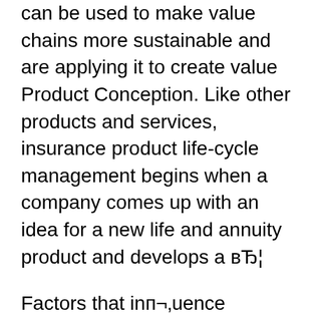can be used to make value chains more sustainable and are applying it to create value Product Conception. Like other products and services, insurance product life-cycle management begins when a company comes up with an idea for a new life and annuity product and develops a вЂ¦
Factors that innп¬‚uence product life cycle management to develop greener products in the mechanical industry Paulo Sergio GonГ§alves de Oliveiraa,b*, Dirceu da Silvac,d, Luciano Ferreira da Silvae,1, Meire dos Santos Lopesd and Guest author Kevin Prendeville is a global managing director with АccentureвЂ™s Product